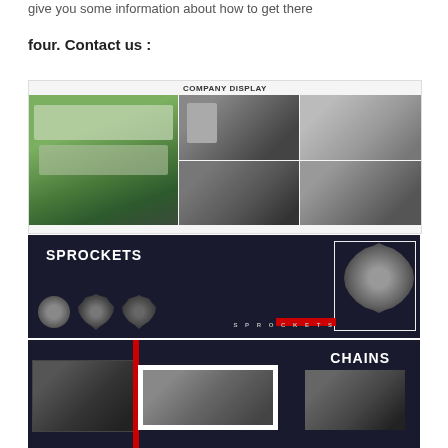give you some information about how to get there
four. Contact us :
[Figure (photo): Company display collage showing aerial view of factory campus with green roofs, CNC machining center interior, laboratory/cleanroom, production floor, and automated assembly line. Labeled 'COMPANY DISPLAY' at top.]
[Figure (photo): Sprockets product display on dark background showing three sprocket gears of different sizes, a large sprocket on right side, with 'SPROCKETS' text and decorative border box.]
[Figure (photo): Chains product display on dark background showing roller chain images in three panels, with 'CHAINS' text on right side.]